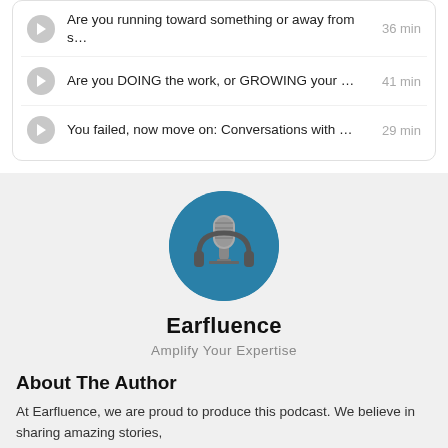Are you running toward something or away from s… 36 min
Are you DOING the work, or GROWING your … 41 min
You failed, now move on: Conversations with … 29 min
[Figure (logo): Circular logo with microphone and headphones on blue background for Earfluence podcast]
Earfluence
Amplify Your Expertise
About The Author
At Earfluence, we are proud to produce this podcast. We believe in sharing amazing stories,